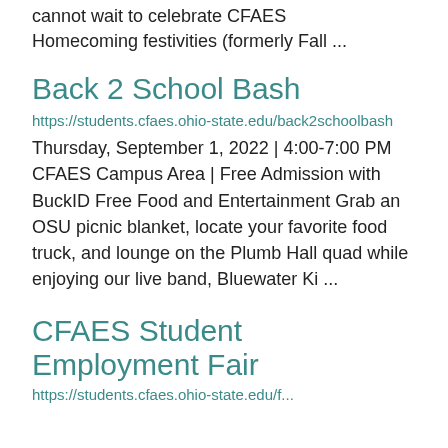cannot wait to celebrate CFAES Homecoming festivities (formerly Fall ...
Back 2 School Bash
https://students.cfaes.ohio-state.edu/back2schoolbash
Thursday, September 1, 2022 | 4:00-7:00 PM CFAES Campus Area | Free Admission with BuckID Free Food and Entertainment Grab an OSU picnic blanket, locate your favorite food truck, and lounge on the Plumb Hall quad while enjoying our live band, Bluewater Ki ...
CFAES Student Employment Fair
https://students.cfaes.ohio-state.edu/f...